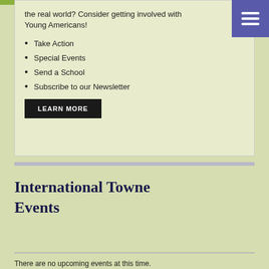the real world? Consider getting involved with Young Americans!
Take Action
Special Events
Send a School
Subscribe to our Newsletter
LEARN MORE
International Towne Events
There are no upcoming events at this time.